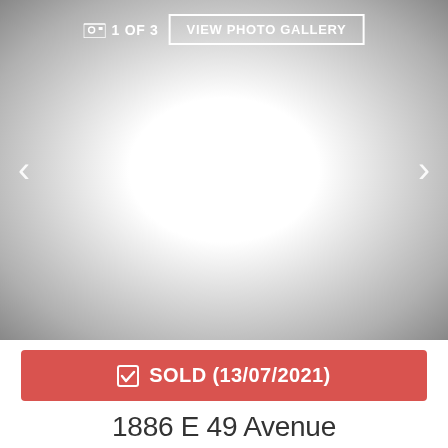[Figure (screenshot): Photo gallery viewer showing a blank/white property photo with navigation arrows on left and right sides]
1 OF 3  VIEW PHOTO GALLERY
☑ SOLD (13/07/2021)
1886 E 49 Avenue